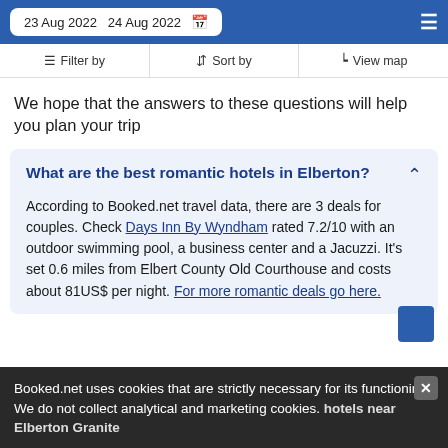23 Aug 2022  24 Aug 2022
Filter by  Sort by  View map
We hope that the answers to these questions will help you plan your trip
What are the best romantic hotels in Elberton?
According to Booked.net travel data, there are 3 deals for couples. Check Days Inn By Wyndham rated 7.2/10 with an outdoor swimming pool, a business center and a Jacuzzi. It's set 0.6 miles from Elbert County Old Courthouse and costs about 81US$ per night. For more romantic deals go here.
Booked.net uses cookies that are strictly necessary for its functioning. We do not collect analytical and marketing cookies. hotels near Elberton Granite